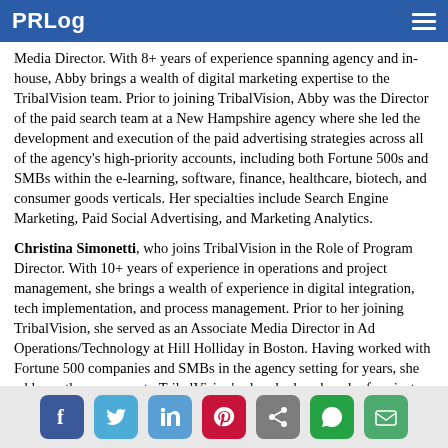PRLog
Media Director. With 8+ years of experience spanning agency and in-house, Abby brings a wealth of digital marketing expertise to the TribalVision team. Prior to joining TribalVision, Abby was the Director of the paid search team at a New Hampshire agency where she led the development and execution of the paid advertising strategies across all of the agency's high-priority accounts, including both Fortune 500s and SMBs within the e-learning, software, finance, healthcare, biotech, and consumer goods verticals. Her specialties include Search Engine Marketing, Paid Social Advertising, and Marketing Analytics.
Christina Simonetti, who joins TribalVision in the Role of Program Director. With 10+ years of experience in operations and project management, she brings a wealth of experience in digital integration, tech implementation, and process management. Prior to her joining TribalVision, she served as an Associate Media Director in Ad Operations/Technology at Hill Holliday in Boston. Having worked with Fortune 500 companies and SMBs in the agency setting for years, she adds another resource to TribalVision's already deep bench of project managers who help ensure we are driving results for our clients in the timeliest manner possible.
Social share icons: Facebook, Twitter, LinkedIn, Pinterest, Share, WhatsApp, Email